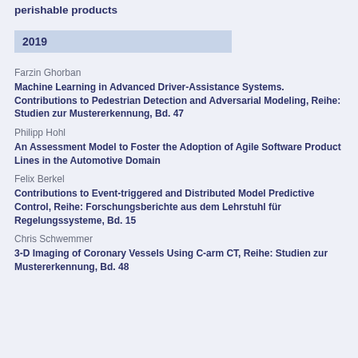perishable products
2019
Farzin Ghorban
Machine Learning in Advanced Driver-Assistance Systems. Contributions to Pedestrian Detection and Adversarial Modeling, Reihe: Studien zur Mustererkennung, Bd. 47
Philipp Hohl
An Assessment Model to Foster the Adoption of Agile Software Product Lines in the Automotive Domain
Felix Berkel
Contributions to Event-triggered and Distributed Model Predictive Control, Reihe: Forschungsberichte aus dem Lehrstuhl für Regelungssysteme, Bd. 15
Chris Schwemmer
3-D Imaging of Coronary Vessels Using C-arm CT, Reihe: Studien zur Mustererkennung, Bd. 48